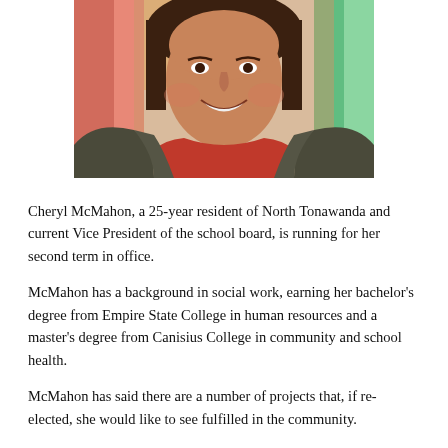[Figure (photo): Photograph of Cheryl McMahon, a woman smiling, wearing a dark grey cardigan over a red shirt, with colorful flags or banners in the background.]
Cheryl McMahon, a 25-year resident of North Tonawanda and current Vice President of the school board, is running for her second term in office.
McMahon has a background in social work, earning her bachelor's degree from Empire State College in human resources and a master's degree from Canisius College in community and school health.
McMahon has said there are a number of projects that, if re-elected, she would like to see fulfilled in the community.